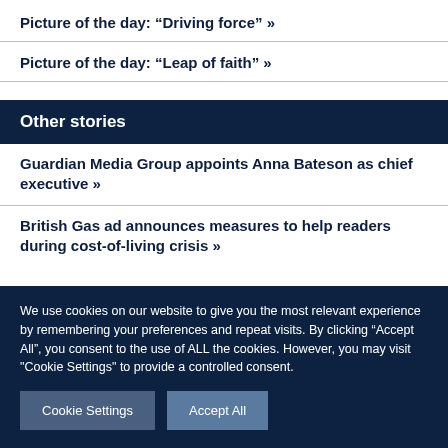Picture of the day: “Driving force” »
Picture of the day: “Leap of faith” »
Other stories
Guardian Media Group appoints Anna Bateson as chief executive »
British Gas ad announces measures to help readers during cost-of-living crisis »
We use cookies on our website to give you the most relevant experience by remembering your preferences and repeat visits. By clicking “Accept All”, you consent to the use of ALL the cookies. However, you may visit "Cookie Settings" to provide a controlled consent.